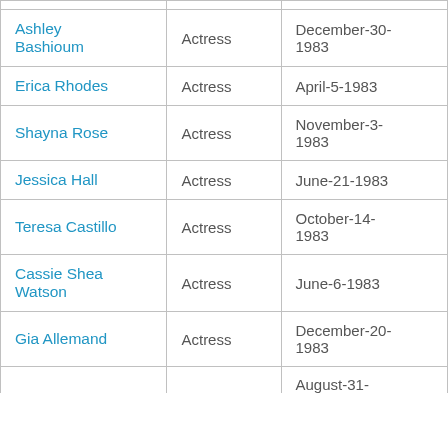| Name | Role | Date |
| --- | --- | --- |
| Ashley Bashioum | Actress | December-30-1983 |
| Erica Rhodes | Actress | April-5-1983 |
| Shayna Rose | Actress | November-3-1983 |
| Jessica Hall | Actress | June-21-1983 |
| Teresa Castillo | Actress | October-14-1983 |
| Cassie Shea Watson | Actress | June-6-1983 |
| Gia Allemand | Actress | December-20-1983 |
| (partial) | (partial) | August-31-... |